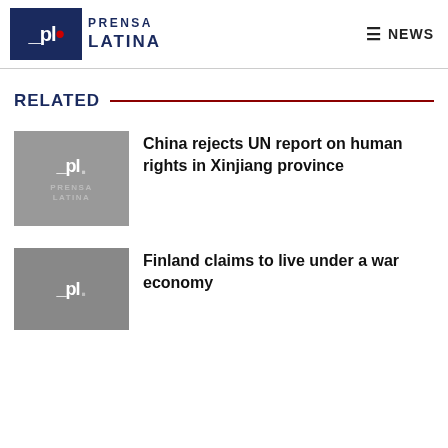Prensa Latina NEWS
RELATED
China rejects UN report on human rights in Xinjiang province
Finland claims to live under a war economy